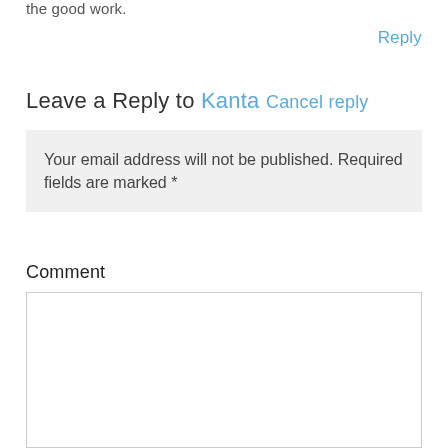the good work.
Reply
Leave a Reply to Kanta Cancel reply
Your email address will not be published. Required fields are marked *
Comment